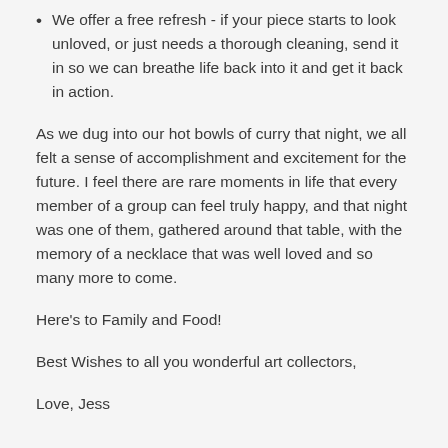We offer a free refresh - if your piece starts to look unloved, or just needs a thorough cleaning, send it in so we can breathe life back into it and get it back in action.
As we dug into our hot bowls of curry that night, we all felt a sense of accomplishment and excitement for the future. I feel there are rare moments in life that every member of a group can feel truly happy, and that night was one of them, gathered around that table, with the memory of a necklace that was well loved and so many more to come.
Here's to Family and Food!
Best Wishes to all you wonderful art collectors,
Love, Jess